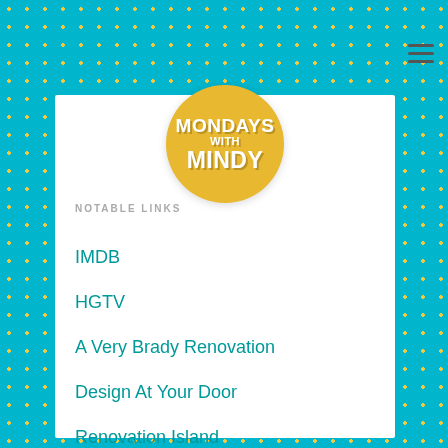[Figure (logo): Mondays with Mindy circular logo — gold/yellow circle with white bold text reading MONDAYS WITH MINDY]
NOTABLE LINKS
IMDB
HGTV
A Very Brady Renovation
Design At Your Door
Renovation Island
Property Brothers